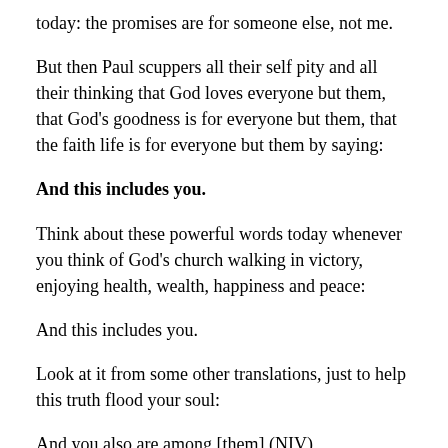today: the promises are for someone else, not me.
But then Paul scuppers all their self pity and all their thinking that God loves everyone but them, that God's goodness is for everyone but them, that the faith life is for everyone but them by saying:
And this includes you.
Think about these powerful words today whenever you think of God's church walking in victory, enjoying health, wealth, happiness and peace:
And this includes you.
Look at it from some other translations, just to help this truth flood your soul:
And you also are among [them] (NIV)